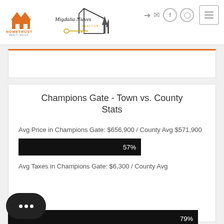[Figure (logo): HomeTrust Realty Group and Migdalia Nieves Realtor logos in header]
Champions Gate - Town vs. County Stats
Avg Price in Champions Gate: $656,900 / County Avg $571,900
[Figure (bar-chart): Avg Price comparison]
Avg Taxes in Champions Gate: $6,300 / County Avg
[Figure (bar-chart): Avg Taxes comparison]